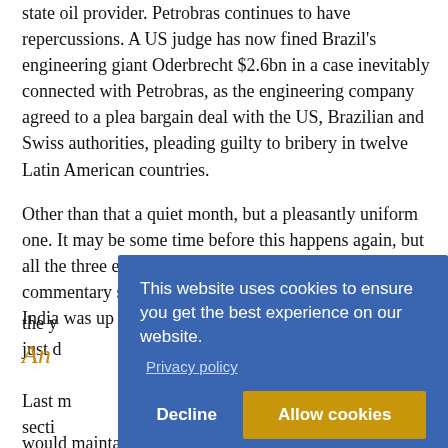state oil provider. Petrobras continues to have repercussions. A US judge has now fined Brazil's engineering giant Oderbrecht $2.6bn in a case inevitably connected with Petrobras, as the engineering company agreed to a plea bargain deal with the US, Brazilian and Swiss authorities, pleading guilty to bribery in twelve Latin American countries.
Other than that a quiet month, but a pleasantly uniform one. It may be some time before this happens again, but all the three emerging markets we cover in this commentary saw their stock markets rise by 1% in April. India was up to 29,918; Brazil rose to 65[...] the y[...] just d[...]
An[...]
Last m[...] secti[...] would maintain the high standard – but it got off a good
[Figure (screenshot): Cookie consent overlay with blue background. Text: 'This website uses cookies to ensure you get the best experience on our website.' Privacy policy link. Two buttons: 'Decline' (text) and 'Allow cookies' (gold/amber button).]